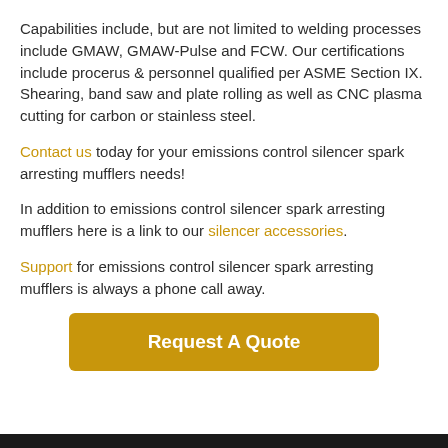Capabilities include, but are not limited to welding processes include GMAW, GMAW-Pulse and FCW. Our certifications include procerus & personnel qualified per ASME Section IX. Shearing, band saw and plate rolling as well as CNC plasma cutting for carbon or stainless steel.
Contact us today for your emissions control silencer spark arresting mufflers needs!
In addition to emissions control silencer spark arresting mufflers here is a link to our silencer accessories.
Support for emissions control silencer spark arresting mufflers is always a phone call away.
[Figure (other): Golden 'Request A Quote' button]